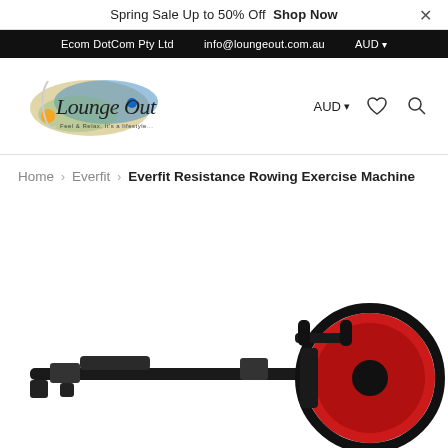Spring Sale Up to 50% Off  Shop Now
Ecom DotCom Pty Ltd   info@loungeout.com.au   AUD
[Figure (logo): Lounge Out logo with cursive text and colorful brush stroke background]
AUD
breadcrumb: Home > Everfit > Everfit Resistance Rowing Exercise Machine
[Figure (photo): Everfit Resistance Rowing Exercise Machine - black and red rowing machine product photo, partially cropped at bottom of page]